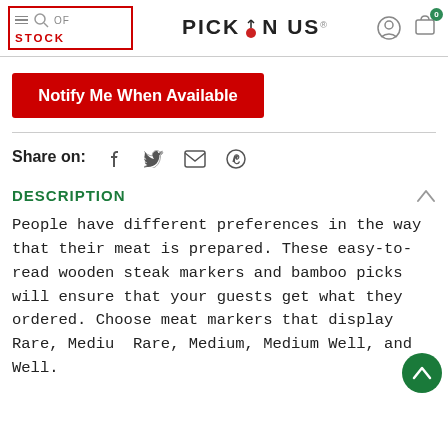PICK ON US - OUT OF STOCK
Notify Me When Available
Share on:
DESCRIPTION
People have different preferences in the way that their meat is prepared. These easy-to-read wooden steak markers and bamboo picks will ensure that your guests get what they ordered. Choose meat markers that display Rare, Medium Rare, Medium, Medium Well, and Well.